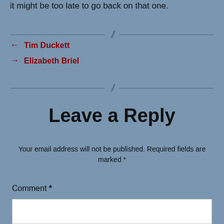it might be too late to go back on that one.
← Tim Duckett
→ Elizabeth Briel
Leave a Reply
Your email address will not be published. Required fields are marked *
Comment *